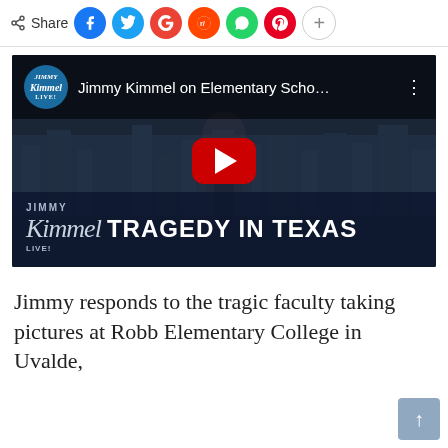[Figure (screenshot): Share bar with social media buttons: Share label, Facebook (blue), Twitter (cyan), Google (red), Reddit (orange-red), WhatsApp (green), Pinterest (dark red), and plus button]
[Figure (screenshot): YouTube video thumbnail showing Jimmy Kimmel Live segment titled 'Jimmy Kimmel on Elementary Scho...' with 'TRAGEDY IN TEXAS' lower-third graphic, featuring a man in a suit at a desk against a city skyline backdrop, with a YouTube play button overlay]
Jimmy responds to the tragic faculty taking pictures at Robb Elementary College in Uvalde,